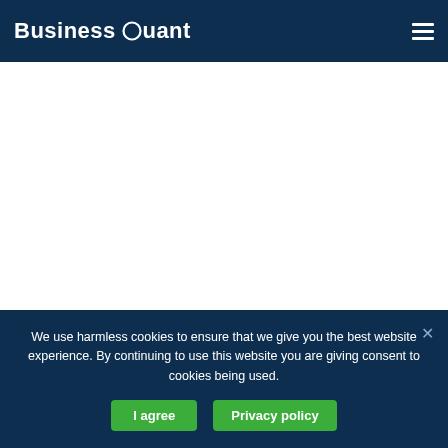Business Quant
We use harmless cookies to ensure that we give you the best website experience. By continuing to use this website you are giving consent to cookies being used.
I agree
Privacy policy